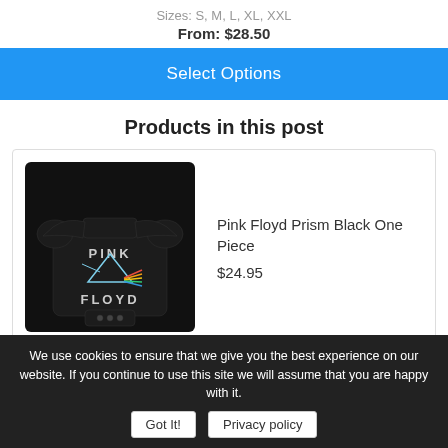Sizes: S, M, L, XL, XXL
From: $28.50
Select Options
Products in this post
[Figure (photo): Pink Floyd Prism Black One Piece baby bodysuit/onesie on black background]
Pink Floyd Prism Black One Piece
$24.95
Related artists
We use cookies to ensure that we give you the best experience on our website. If you continue to use this site we will assume that you are happy with it.
Got It!
Privacy policy